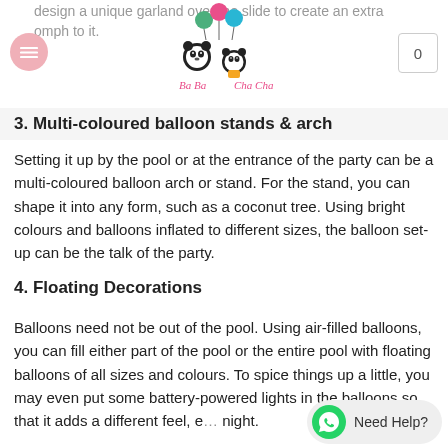design a unique garland over the slide to create an extra omph to it.
3. Multi-coloured balloon stands & arch
Setting it up by the pool or at the entrance of the party can be a multi-coloured balloon arch or stand. For the stand, you can shape it into any form, such as a coconut tree. Using bright colours and balloons inflated to different sizes, the balloon set-up can be the talk of the party.
4. Floating Decorations
Balloons need not be out of the pool. Using air-filled balloons, you can fill either part of the pool or the entire pool with floating balloons of all sizes and colours. To spice things up a little, you may even put some battery-powered lights in the balloons so that it adds a different feel, e... night.